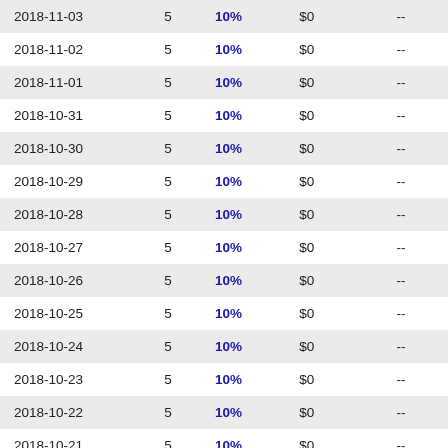| 2018-11-03 | 5 | 10% | $0 | -- |
| 2018-11-02 | 5 | 10% | $0 | -- |
| 2018-11-01 | 5 | 10% | $0 | -- |
| 2018-10-31 | 5 | 10% | $0 | -- |
| 2018-10-30 | 5 | 10% | $0 | -- |
| 2018-10-29 | 5 | 10% | $0 | -- |
| 2018-10-28 | 5 | 10% | $0 | -- |
| 2018-10-27 | 5 | 10% | $0 | -- |
| 2018-10-26 | 5 | 10% | $0 | -- |
| 2018-10-25 | 5 | 10% | $0 | -- |
| 2018-10-24 | 5 | 10% | $0 | -- |
| 2018-10-23 | 5 | 10% | $0 | -- |
| 2018-10-22 | 5 | 10% | $0 | -- |
| 2018-10-21 | 5 | 10% | $0 | -- |
| 2018-10-20 | 5 | 10% | $0 | -- |
| 2018-10-19 | 5 | 10% | $0 | -- |